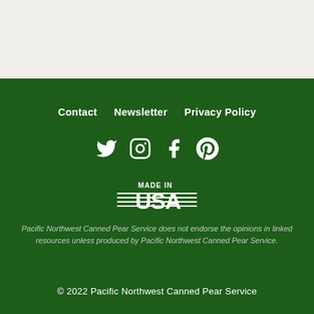Contact   Newsletter   Privacy Policy
[Figure (illustration): Social media icons: Twitter, Instagram, Facebook, Pinterest]
[Figure (logo): Made in USA logo with horizontal lines and bold text]
Pacific Northwest Canned Pear Service does not endorse the opinions in linked resources unless produced by Pacific Northwest Canned Pear Service.
© 2022 Pacific Northwest Canned Pear Service